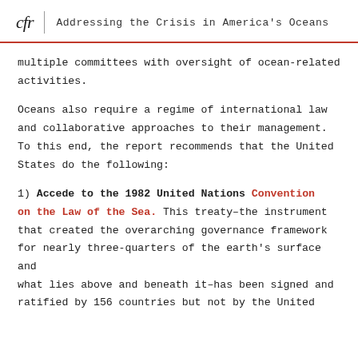cfr | Addressing the Crisis in America's Oceans
multiple committees with oversight of ocean-related activities.
Oceans also require a regime of international law and collaborative approaches to their management. To this end, the report recommends that the United States do the following:
1) Accede to the 1982 United Nations Convention on the Law of the Sea. This treaty–the instrument that created the overarching governance framework for nearly three-quarters of the earth's surface and what lies above and beneath it–has been signed and ratified by 156 countries but not by the United